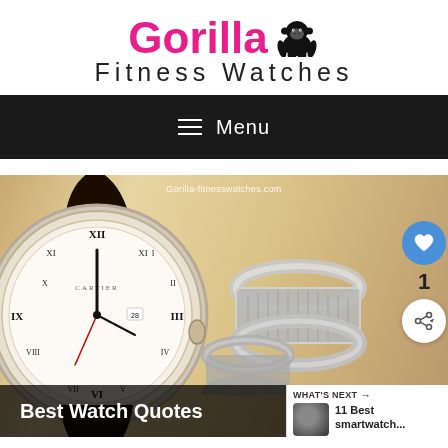[Figure (logo): Gorilla Fitness Watches logo with pink/purple text and gorilla silhouette icon]
≡  Menu
[Figure (photo): A vintage-style Cartier Ballon Bleu watch and two silver rings on a golden/sepia background, with text overlay 'Best Watch Quotes' and a 'WHAT'S NEXT' panel showing '11 Best smartwatch...']